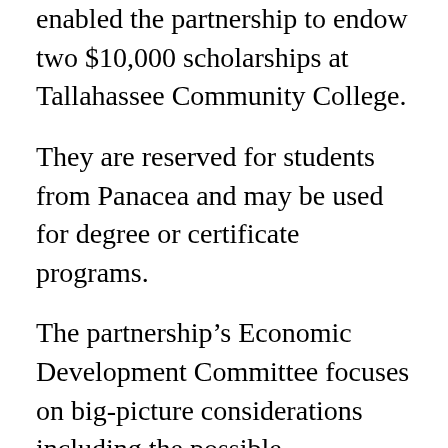enabled the partnership to endow two $10,000 scholarships at Tallahassee Community College.
They are reserved for students from Panacea and may be used for degree or certificate programs.
The partnership’s Economic Development Committee focuses on big-picture considerations including the possible incorporation of Panacea or the formation of a community revitalization area (CRA).
“The partnership board has been a great advocate for Panacea,” Portwood said. “Because we are small and unincorporated